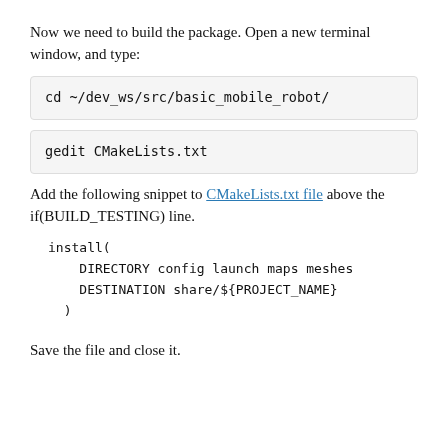Now we need to build the package. Open a new terminal window, and type:
cd ~/dev_ws/src/basic_mobile_robot/
gedit CMakeLists.txt
Add the following snippet to CMakeLists.txt file above the if(BUILD_TESTING) line.
install(
    DIRECTORY config launch maps meshes
    DESTINATION share/${PROJECT_NAME}
  )
Save the file and close it.